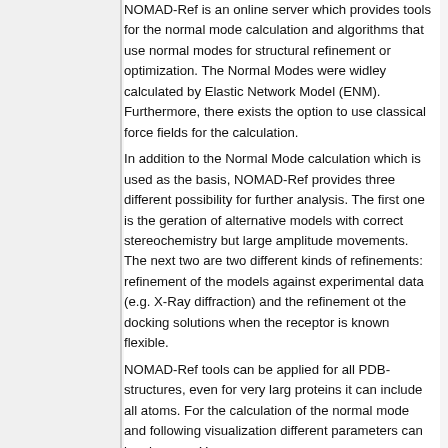NOMAD-Ref is an online server which provides tools for the normal mode calculation and algorithms that use normal modes for structural refinement or optimization. The Normal Modes were widley calculated by Elastic Network Model (ENM). Furthermore, there exists the option to use classical force fields for the calculation.
In addition to the Normal Mode calculation which is used as the basis, NOMAD-Ref provides three different possibility for further analysis. The first one is the geration of alternative models with correct stereochemistry but large amplitude movements. The next two are two different kinds of refinements: refinement of the models against experimental data (e.g. X-Ray diffraction) and the refinement ot the docking solutions when the receptor is known flexible.
NOMAD-Ref tools can be applied for all PDB-structures, even for very larg proteins it can include all atoms. For the calculation of the normal mode and following visualization different parameters can be choosen. You can